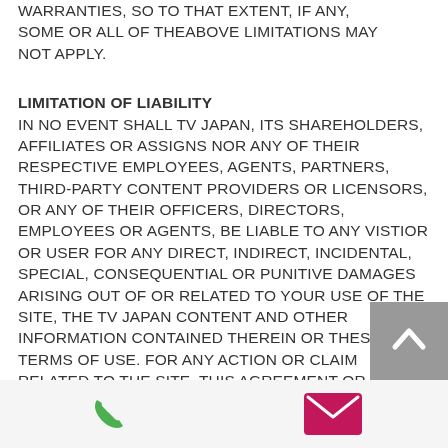WARRANTIES, SO TO THAT EXTENT, IF ANY, SOME OR ALL OF THEABOVE LIMITATIONS MAY NOT APPLY.
LIMITATION OF LIABILITY
IN NO EVENT SHALL TV JAPAN, ITS SHAREHOLDERS, AFFILIATES OR ASSIGNS NOR ANY OF THEIR RESPECTIVE EMPLOYEES, AGENTS, PARTNERS, THIRD-PARTY CONTENT PROVIDERS OR LICENSORS, OR ANY OF THEIR OFFICERS, DIRECTORS, EMPLOYEES OR AGENTS, BE LIABLE TO ANY VISTIOR OR USER FOR ANY DIRECT, INDIRECT, INCIDENTAL, SPECIAL, CONSEQUENTIAL OR PUNITIVE DAMAGES ARISING OUT OF OR RELATED TO YOUR USE OF THE SITE, THE TV JAPAN CONTENT AND OTHER INFORMATION CONTAINED THEREIN OR THESE TERMS OF USE. FOR ANY ACTION OR CLAIM RELATED TO THE SITE, THIS AGREEMENT OR THESE TERMS OF USE WHETHER BASED ON CONTRACT, TORT, NEGLIGENCE OR ANY OTHER THEORY OF LIABILITY. TV JAPAN'S LIABILITY SHALL NOT
[Figure (other): Scroll-to-top button with upward chevron arrow on grey background]
[Figure (other): Bottom navigation bar with green phone icon and pink/magenta email envelope icon]